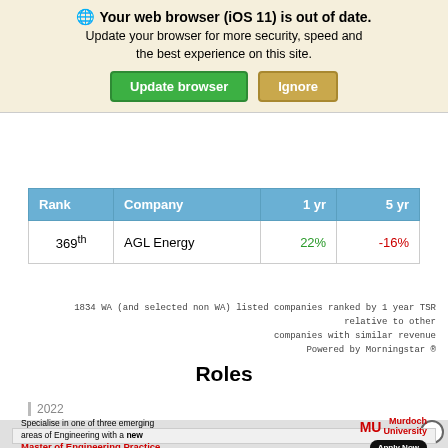[Figure (screenshot): Browser out-of-date warning banner with globe icon, text 'Your web browser (iOS 11) is out of date. Update your browser for more security, speed and the best experience on this site.' with green 'Update browser' button and tan 'Ignore' button]
| Rank | Company | 1 yr | 5 yr |
| --- | --- | --- | --- |
| 369th | AGL Energy | 22% | -16% |
1834 WA (and selected non WA) listed companies ranked by 1 year TSR relative to other companies with similar revenue
Powered by Morningstar ®
Roles
2022
[Figure (screenshot): Murdoch University advertisement: 'Specialise in one of three emerging areas of Engineering with a new Master of Engineering Practice' with Murdoch University logo and Apply Now button]